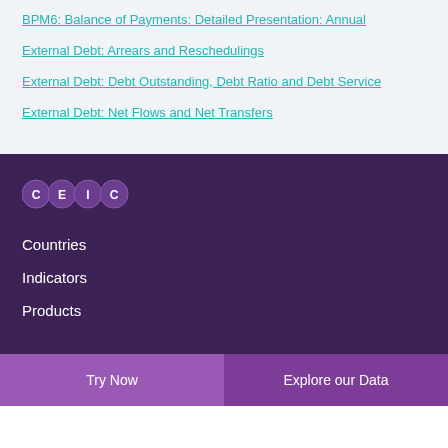BPM6: Balance of Payments: Detailed Presentation: Annual
External Debt: Arrears and Reschedulings
External Debt: Debt Outstanding, Debt Ratio and Debt Service
External Debt: Net Flows and Net Transfers
[Figure (logo): CEIC logo with four purple overlapping circles containing letters C, E, I, C]
Countries
Indicators
Products
Try Now | Explore our Data